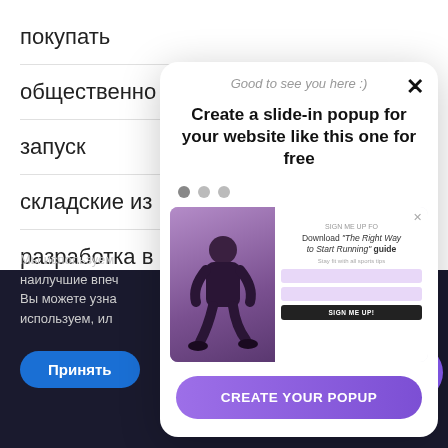покупать
общественно
запуск
складские из
разработка в
wordpress
Мы используем наилучшие впечатления. Вы можете узна используем, ил
Принять
[Figure (screenshot): Slide-in popup promotional widget showing 'Create a slide-in popup for your website like this one for free' with a screenshot of a fitness popup and a CREATE YOUR POPUP CTA button]